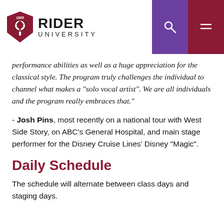Rider University
performance abilities as well as a huge appreciation for the classical style. The program truly challenges the individual to channel what makes a "solo vocal artist". We are all individuals and the program really embraces that."
- Josh Pins, most recently on a national tour with West Side Story, on ABC's General Hospital, and main stage performer for the Disney Cruise Lines' Disney “Magic”.
Daily Schedule
The schedule will alternate between class days and staging days.
Actual Class Days / Alternating Days